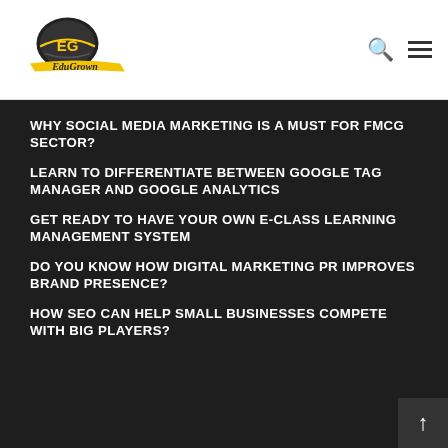[Figure (logo): EduGrown logo with helmet graphic and stylized text on yellow banner]
WHY SOCIAL MEDIA MARKETING IS A MUST FOR FMCG SECTOR?
LEARN TO DIFFERENTIATE BETWEEN GOOGLE TAG MANAGER AND GOOGLE ANALYTICS
GET READY TO HAVE YOUR OWN E-CLASS LEARNING MANAGEMENT SYSTEM
DO YOU KNOW HOW DIGITAL MARKETING PR IMPROVES BRAND PRESENCE?
HOW SEO CAN HELP SMALL BUSINESSES COMPETE WITH BIG PLAYERS?